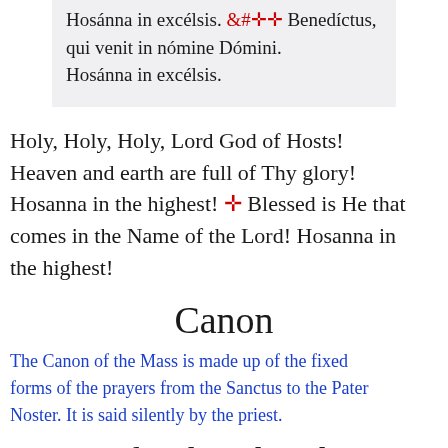Hosánna in excélsis. ✛ Benedíctus, qui venit in nómine Dómini. Hosánna in excélsis.
Holy, Holy, Holy, Lord God of Hosts! Heaven and earth are full of Thy glory! Hosanna in the highest! ✛ Blessed is He that comes in the Name of the Lord! Hosanna in the highest!
Canon
The Canon of the Mass is made up of the fixed forms of the prayers from the Sanctus to the Pater Noster. It is said silently by the priest.
Prayers for the Church